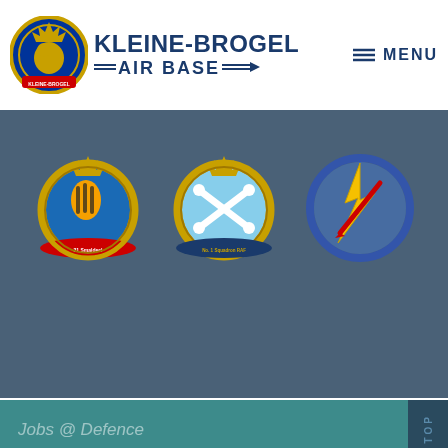[Figure (logo): Kleine-Brogel Air Base website header with logo, site name, and menu button]
[Figure (illustration): Three military squadron badge emblems on dark blue-grey background]
Door op "Toestaan" te klikken of door verder te surfen, erken je de Privacy– en cookieverklaring gelezen te hebben.
Cookie beleid    Privacy beleid
Got it!   cookies Toestaan
Jobs @ Defence